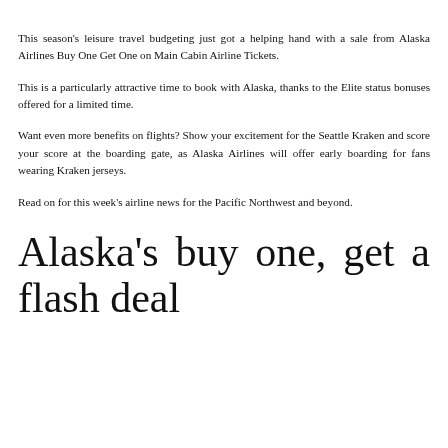This season's leisure travel budgeting just got a helping hand with a sale from Alaska Airlines Buy One Get One on Main Cabin Airline Tickets.
This is a particularly attractive time to book with Alaska, thanks to the Elite status bonuses offered for a limited time.
Want even more benefits on flights? Show your excitement for the Seattle Kraken and score your score at the boarding gate, as Alaska Airlines will offer early boarding for fans wearing Kraken jerseys.
Read on for this week's airline news for the Pacific Northwest and beyond.
Alaska's buy one, get a flash deal